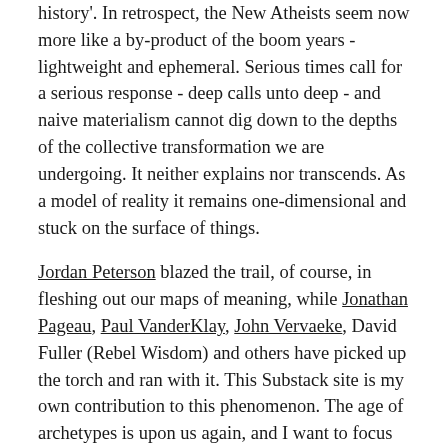history'. In retrospect, the New Atheists seem now more like a by-product of the boom years - lightweight and ephemeral. Serious times call for a serious response - deep calls unto deep - and naive materialism cannot dig down to the depths of the collective transformation we are undergoing. It neither explains nor transcends. As a model of reality it remains one-dimensional and stuck on the surface of things.
Jordan Peterson blazed the trail, of course, in fleshing out our maps of meaning, while Jonathan Pageau, Paul VanderKlay, John Vervaeke, David Fuller (Rebel Wisdom) and others have picked up the torch and ran with it. This Substack site is my own contribution to this phenomenon. The age of archetypes is upon us again, and I want to focus here on one archetypal trope in particular - the return of the King. The horizontal